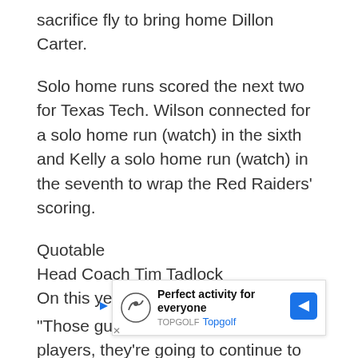sacrifice fly to bring home Dillon Carter.
Solo home runs scored the next two for Texas Tech. Wilson connected for a solo home run (watch) in the sixth and Kelly a solo home run (watch) in the seventh to wrap the Red Raiders' scoring.
Quotable
Head Coach Tim Tadlock
On this year's seniors...
“Those guys have been really good players, they’re going to continue to be really good players. I’m awfully proud of them. Don’t kid yourself, if you think about it, you go up to the plate today and think ... t-bat in this ... been
[Figure (other): Advertisement banner for Topgolf: 'Perfect activity for everyone' with Topgolf logo and navigation icon]